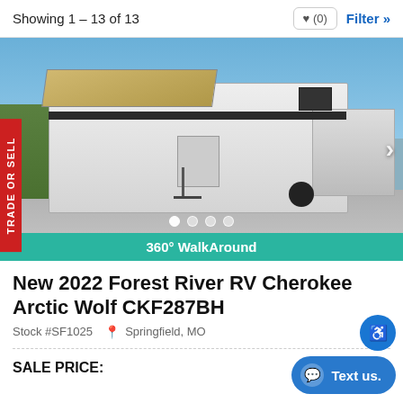Showing 1 – 13 of 13
[Figure (photo): RV/Fifth-wheel trailer (Forest River Cherokee Arctic Wolf) parked on concrete with awning extended, blue sky background. Navigation arrows and dot indicators visible.]
360° WalkAround
New 2022 Forest River RV Cherokee Arctic Wolf CKF287BH
Stock #SF1025  Springfield, MO
SALE PRICE:  $51,562